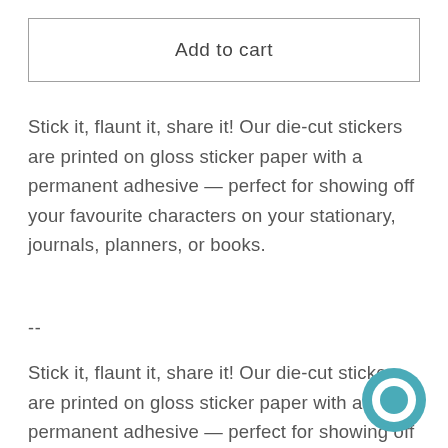Add to cart
Stick it, flaunt it, share it! Our die-cut stickers are printed on gloss sticker paper with a permanent adhesive — perfect for showing off your favourite characters on your stationary, journals, planners, or books.
--
Stick it, flaunt it, share it! Our die-cut stickers are printed on gloss sticker paper with a permanent adhesive — perfect for showing off your favourite characters on your stationary, journals, planners, or books.
[Figure (illustration): Teal/turquoise circular chat bubble icon in the bottom-right corner]